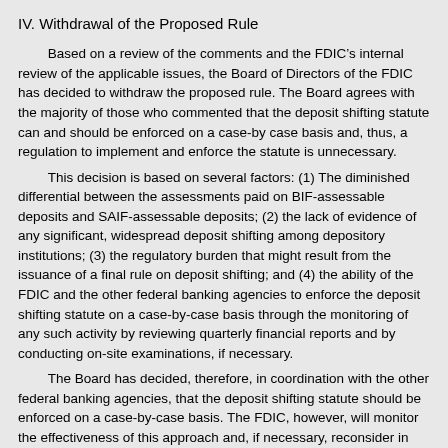IV. Withdrawal of the Proposed Rule
Based on a review of the comments and the FDIC’s internal review of the applicable issues, the Board of Directors of the FDIC has decided to withdraw the proposed rule. The Board agrees with the majority of those who commented that the deposit shifting statute can and should be enforced on a case-by case basis and, thus, a regulation to implement and enforce the statute is unnecessary.
This decision is based on several factors: (1) The diminished differential between the assessments paid on BIF-assessable deposits and SAIF-assessable deposits; (2) the lack of evidence of any significant, widespread deposit shifting among depository institutions; (3) the regulatory burden that might result from the issuance of a final rule on deposit shifting; and (4) the ability of the FDIC and the other federal banking agencies to enforce the deposit shifting statute on a case-by-case basis through the monitoring of any such activity by reviewing quarterly financial reports and by conducting on-site examinations, if necessary.
The Board has decided, therefore, in coordination with the other federal banking agencies, that the deposit shifting statute should be enforced on a case-by-case basis. The FDIC, however, will monitor the effectiveness of this approach and, if necessary, reconsider in the future whether a regulation is needed to implement the deposit shifting statute.